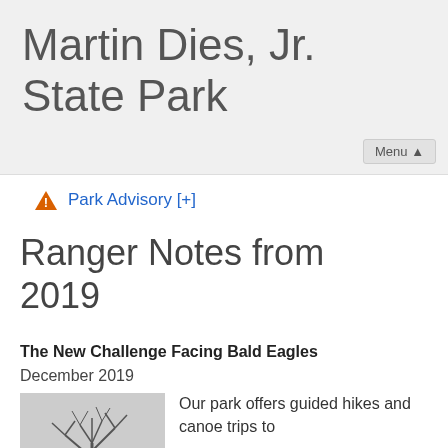Martin Dies, Jr. State Park
Menu ▲
⚠ Park Advisory [+]
Ranger Notes from 2019
The New Challenge Facing Bald Eagles
December 2019
[Figure (photo): Black and white photo of bare tree branches against a light sky]
Our park offers guided hikes and canoe trips to